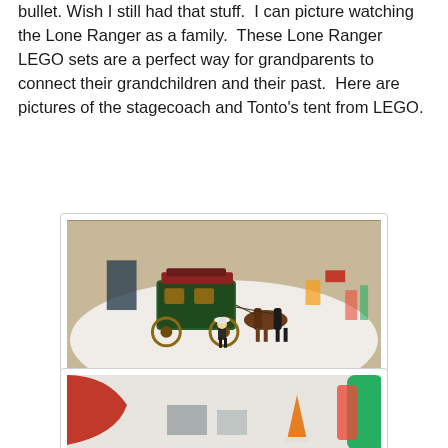bullet. Wish I still had that stuff.  I can picture watching the Lone Ranger as a family.  These Lone Ranger LEGO sets are a perfect way for grandparents to connect their grandchildren and their past.  Here are pictures of the stagecoach and Tonto's tent from LEGO.
[Figure (photo): A LEGO Lone Ranger Stagecoach set displayed on a white surface, showing a detailed stagecoach with horses and minifigures.]
The Lone Ranger Stagecoach
[Figure (photo): Partial view of another LEGO set, showing red and green pieces on a white surface.]